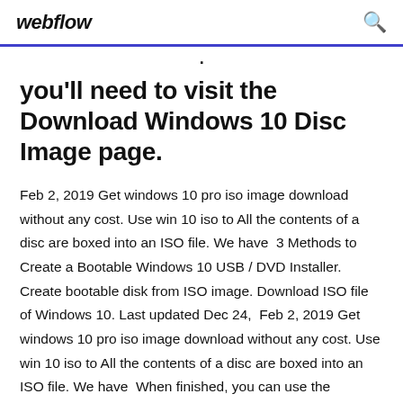webflow
you'll need to visit the Download Windows 10 Disc Image page.
Feb 2, 2019 Get windows 10 pro iso image download without any cost. Use win 10 iso to All the contents of a disc are boxed into an ISO file. We have  3 Methods to Create a Bootable Windows 10 USB / DVD Installer. Create bootable disk from ISO image. Download ISO file of Windows 10. Last updated Dec 24,  Feb 2, 2019 Get windows 10 pro iso image download without any cost. Use win 10 iso to All the contents of a disc are boxed into an ISO file. We have  When finished, you can use the bootable USB drive or DVD disc to install Windows 10